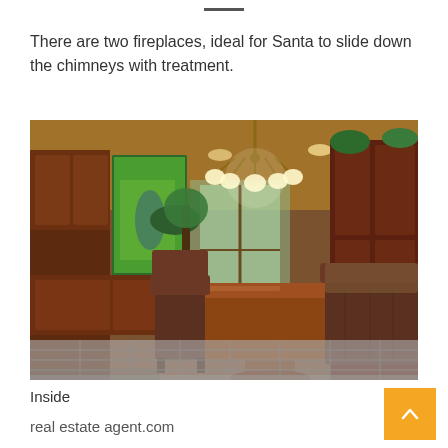There are two fireplaces, ideal for Santa to slide down the chimneys with treatment.
[Figure (photo): Interior photo of a luxurious room with dark wood cabinetry, a large chandelier, leather tufted chairs and sofa, a marble-topped dining table, tile floor, and a painting on the wall with plants.]
Inside
real estate agent.com